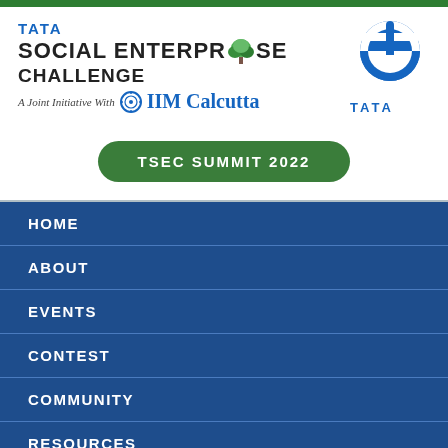[Figure (logo): Tata Social Enterprise Challenge logo with tree icon and IIM Calcutta joint initiative text]
[Figure (logo): Tata circular logo in blue on the right side]
TSEC SUMMIT 2022
HOME
ABOUT
EVENTS
CONTEST
COMMUNITY
RESOURCES